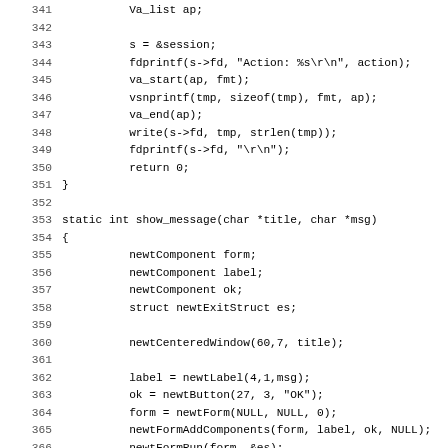Source code listing lines 341-373, C programming language code showing functions including show_message with newtComponent operations.